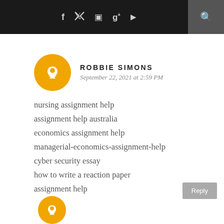f  t  [instagram]  g+  [youtube]  [search]
ROBBIE SIMONS
September 22, 2021 at 2:59 PM
nursing assignment help
assignment help australia
economics assignment help
managerial-economics-assignment-help
cyber security essay
how to write a reaction paper
assignment help